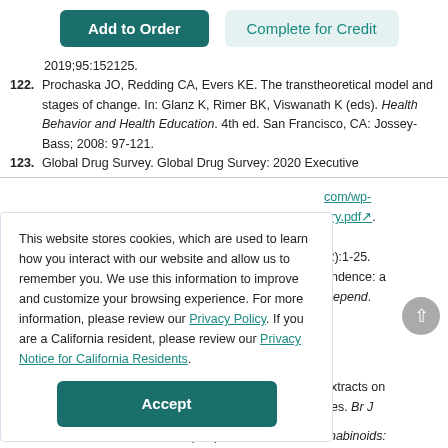[Figure (screenshot): Two buttons: 'Add to Order' (dark teal) and 'Complete for Credit' (light teal background)]
2019;95:152125.
122. Prochaska JO, Redding CA, Evers KE. The transtheoretical model and stages of change. In: Glanz K, Rimer BK, Viswanath K (eds). Health Behavior and Health Education. 4th ed. San Francisco, CA: Jossey-Bass; 2008: 97-121.
123. Global Drug Survey. Global Drug Survey: 2020 Executive
This website stores cookies, which are used to learn how you interact with our website and allow us to remember you. We use this information to improve and customize your browsing experience. For more information, please review our Privacy Policy. If you are a California resident, please review our Privacy Notice for California Residents.
com/wp-ary.pdf.
r :2):1-25. endence: a Depend.
extracts on nes. Br J
127. Grotenhermen F, Russo E (eds). Cannabis and Cannabinoids: